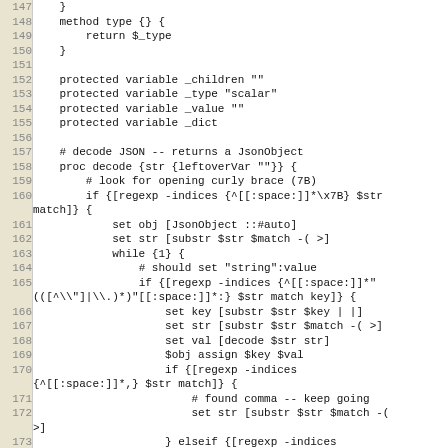Code listing lines 147-174, Tcl/JSON source code